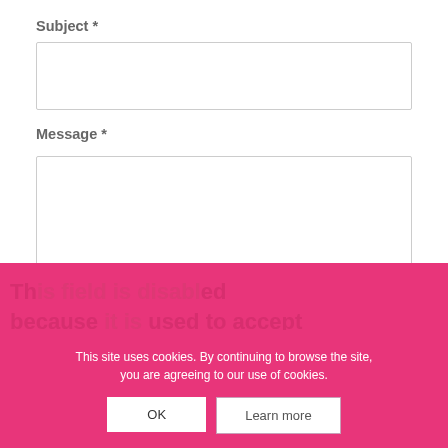Subject *
[Figure (screenshot): Empty text input field for Subject]
Message *
[Figure (screenshot): Empty textarea input field for Message with resize handle]
This site uses cookies. By continuing to browse the site, you are agreeing to our use of cookies.
OK
Learn more
This field is disabled because it is used to accept Google reCaptcha, a service which